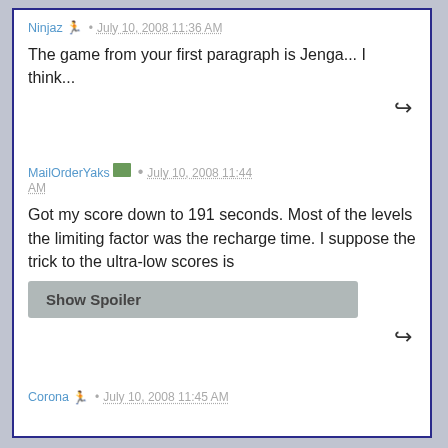Ninjaz 🏃 · July 10, 2008 11:36 AM
The game from your first paragraph is Jenga... I think...
MailOrderYaks 📦 · July 10, 2008 11:44 AM
Got my score down to 191 seconds. Most of the levels the limiting factor was the recharge time. I suppose the trick to the ultra-low scores is
Show Spoiler
Corona 🏃 · July 10, 2008 11:45 AM